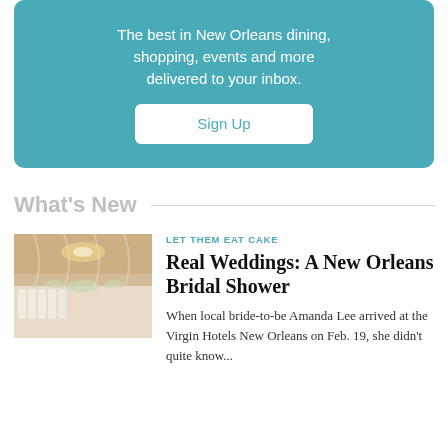The best in New Orleans dining, shopping, events and more delivered to your inbox.
Sign Up
What's New
[Figure (photo): A bridal shower venue with long decorated tables, white chairs, floral centerpieces, and warm lighting.]
LET THEM EAT CAKE
Real Weddings: A New Orleans Bridal Shower
When local bride-to-be Amanda Lee arrived at the Virgin Hotels New Orleans on Feb. 19, she didn't quite know...